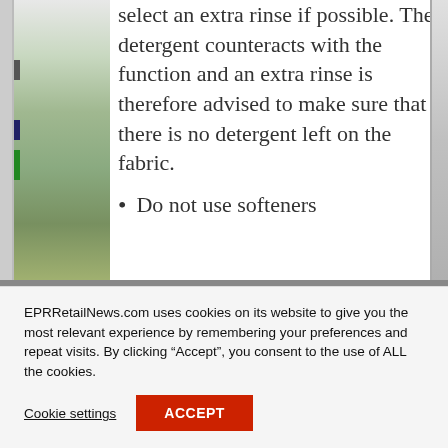[Figure (photo): Partial view of product image on the left side of the page, showing colorful packaging/bottles]
select an extra rinse if possible. The detergent counteracts with the function and an extra rinse is therefore advised to make sure that there is no detergent left on the fabric.
Do not use softeners
EPRRetailNews.com uses cookies on its website to give you the most relevant experience by remembering your preferences and repeat visits. By clicking “Accept”, you consent to the use of ALL the cookies.